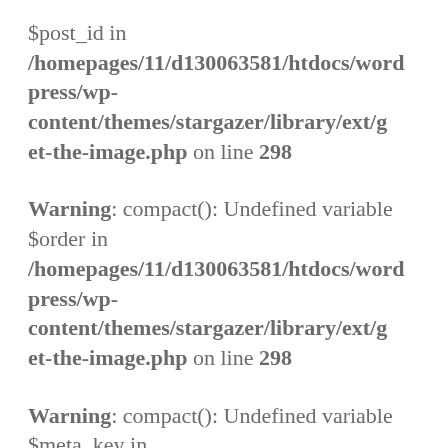$post_id in /homepages/11/d130063581/htdocs/wordpress/wp-content/themes/stargazer/library/ext/get-the-image.php on line 298
Warning: compact(): Undefined variable $order in /homepages/11/d130063581/htdocs/wordpress/wp-content/themes/stargazer/library/ext/get-the-image.php on line 298
Warning: compact(): Undefined variable $meta_key in